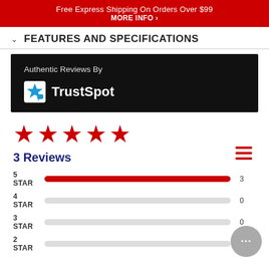Free Express Shipping On Orders Over $99
MORE INFO ›
FEATURES AND SPECIFICATIONS
[Figure (logo): TrustSpot authentic reviews logo on black background with text 'Authentic Reviews By TrustSpot']
[Figure (infographic): Five red stars rating display showing 3 Reviews]
3 Reviews
| Star Level | Bar | Count |
| --- | --- | --- |
| 5 STAR | full | 3 |
| 4 STAR | empty | 0 |
| 3 STAR | empty | 0 |